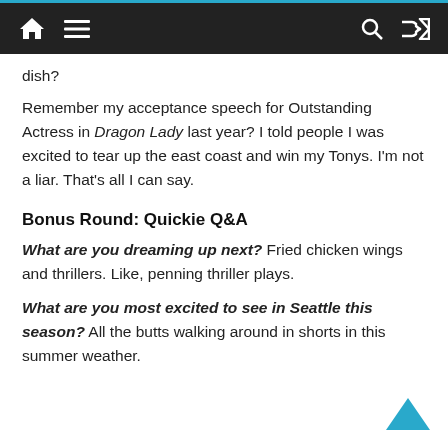Navigation bar with home, menu, search, and shuffle icons
dish?
Remember my acceptance speech for Outstanding Actress in Dragon Lady last year? I told people I was excited to tear up the east coast and win my Tonys. I'm not a liar. That's all I can say.
Bonus Round: Quickie Q&A
What are you dreaming up next? Fried chicken wings and thrillers. Like, penning thriller plays.
What are you most excited to see in Seattle this season? All the butts walking around in shorts in this summer weather.